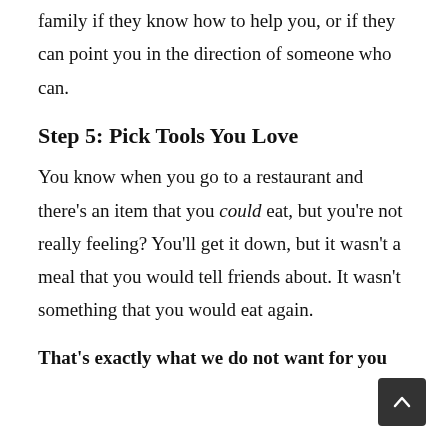family if they know how to help you, or if they can point you in the direction of someone who can.
Step 5: Pick Tools You Love
You know when you go to a restaurant and there's an item that you could eat, but you're not really feeling? You'll get it down, but it wasn't a meal that you would tell friends about. It wasn't something that you would eat again.
That's exactly what we do not want for your